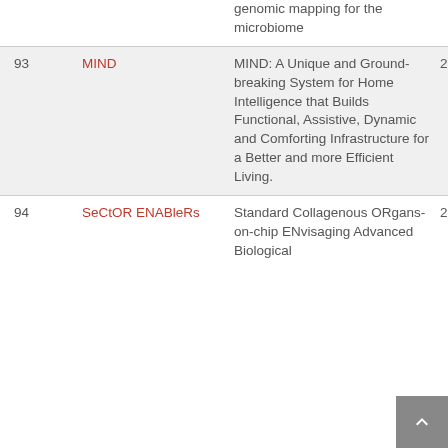| # | Acronym | Title | Year |
| --- | --- | --- | --- |
|  |  | genomic mapping for the microbiome |  |
| 93 | MIND | MIND: A Unique and Ground-breaking System for Home Intelligence that Builds Functional, Assistive, Dynamic and Comforting Infrastructure for a Better and more Efficient Living. | 20 |
| 94 | SeCtOR ENABleRs | Standard Collagenous ORgans-on-chip ENvisaging Advanced Biological | 20 |